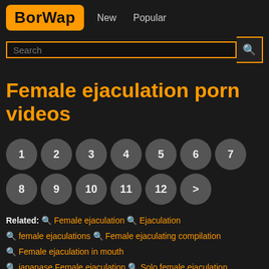BorWap  New  Popular
Female ejaculation porn videos
1 2 3 4 5 6 7 8 9 10 11 12 >
Related: Female ejaculation  Ejaculation  female ejaculations  Female ejaculating compilation  Female ejaculation in mouth  japanase Female ejaculation  Solo female ejaculation  Female ejaculation by hand  Female ejaculation 20  The best female ejaculation compilation